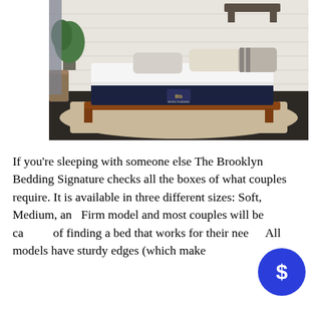[Figure (photo): A Brooklyn Bedding Signature mattress on a low wooden bed frame with a beige jute rug, multiple pillows, a potted plant, and a white brick wall in the background.]
If you're sleeping with someone else The Brooklyn Bedding Signature checks all the boxes of what couples require. It is available in three different sizes: Soft, Medium, and Firm model and most couples will be ca of finding a bed that works for their nee All models have sturdy edges (which make